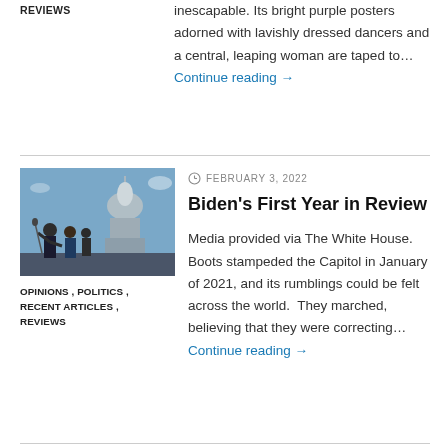REVIEWS
inescapable. Its bright purple posters adorned with lavishly dressed dancers and a central, leaping woman are taped to… Continue reading →
[Figure (photo): Photo of a group of people including Biden waving in front of the US Capitol building]
OPINIONS , POLITICS , RECENT ARTICLES , REVIEWS
FEBRUARY 3, 2022
Biden's First Year in Review
Media provided via The White House. Boots stampeded the Capitol in January of 2021, and its rumblings could be felt across the world.  They marched, believing that they were correcting… Continue reading →